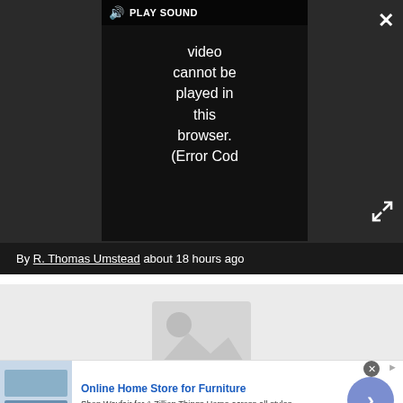[Figure (screenshot): Video player showing error: 'Video cannot be played in this browser. (Error Cod' with PLAY SOUND button and speaker icon at top, close X button top right, expand arrows bottom right, on dark background]
By R. Thomas Umstead about 18 hours ago
[Figure (photo): Gray placeholder image area with no-image icon (circle and mountain shape)]
WGCL Atlanta Changing Call Letters
[Figure (infographic): Advertisement: Online Home Store for Furniture. Shop Wayfair for A Zillion Things Home across all styles. www.wayfair.com. With furniture image on left and blue arrow circle on right.]